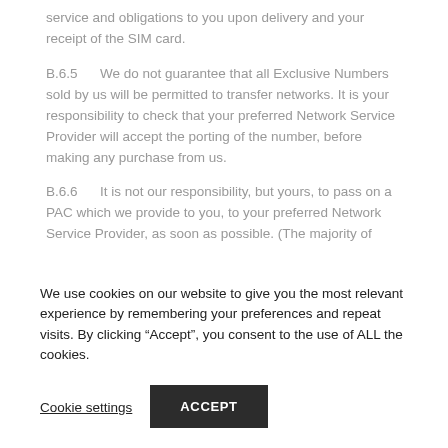service and obligations to you upon delivery and your receipt of the SIM card.
B.6.5   We do not guarantee that all Exclusive Numbers sold by us will be permitted to transfer networks. It is your responsibility to check that your preferred Network Service Provider will accept the porting of the number, before making any purchase from us.
B.6.6   It is not our responsibility, but yours, to pass on a PAC which we provide to you, to your preferred Network Service Provider, as soon as possible. (The majority of
We use cookies on our website to give you the most relevant experience by remembering your preferences and repeat visits. By clicking "Accept", you consent to the use of ALL the cookies.
Cookie settings
ACCEPT